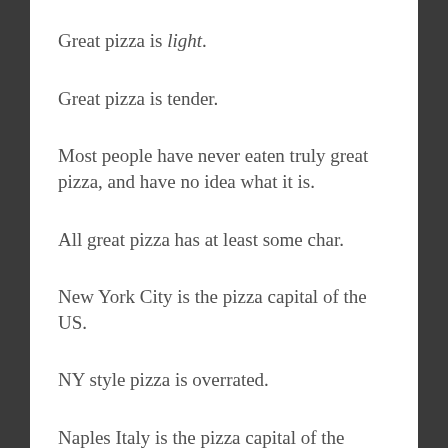Great pizza is light.
Great pizza is tender.
Most people have never eaten truly great pizza, and have no idea what it is.
All great pizza has at least some char.
New York City is the pizza capital of the US.
NY style pizza is overrated.
Naples Italy is the pizza capital of the world.
Neopolitan style pizza is the most delicious style of